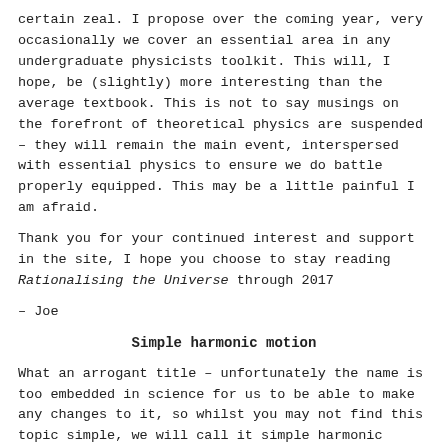certain zeal. I propose over the coming year, very occasionally we cover an essential area in any undergraduate physicists toolkit. This will, I hope, be (slightly) more interesting than the average textbook. This is not to say musings on the forefront of theoretical physics are suspended – they will remain the main event, interspersed with essential physics to ensure we do battle properly equipped. This may be a little painful I am afraid.
Thank you for your continued interest and support in the site, I hope you choose to stay reading Rationalising the Universe through 2017
– Joe
Simple harmonic motion
What an arrogant title – unfortunately the name is too embedded in science for us to be able to make any changes to it, so whilst you may not find this topic simple, we will call it simple harmonic motion, or SHM for brevity. I often like to start with the dictionary definition of a word or phrase before uncovering the detail, which for SHM we have;
simple harmonic motion